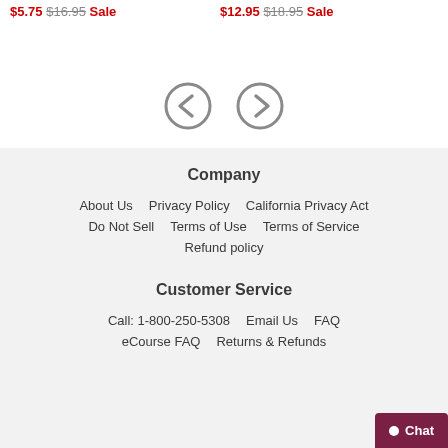$5.75 $16.95 Sale   $12.95 $18.95 Sale
[Figure (illustration): Navigation arrows: left chevron circle and right chevron circle, gray outlined]
Company
About Us
Privacy Policy
California Privacy Act
Do Not Sell
Terms of Use
Terms of Service
Refund policy
Customer Service
Call: 1-800-250-5308
Email Us
FAQ
eCourse FAQ
Returns & Refunds